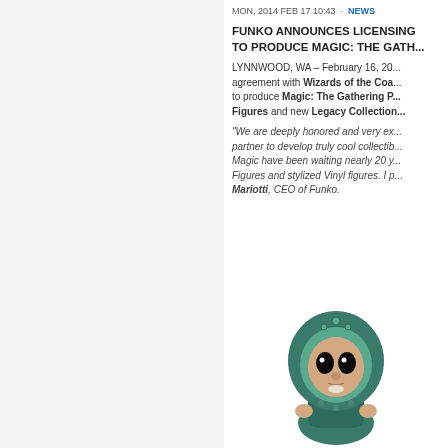MON, 2014 FEB 17 10:43 · NEWS
FUNKO ANNOUNCES LICENSING TO PRODUCE MAGIC: THE GATHERING...
LYNNWOOD, WA – February 16, 20... agreement with Wizards of the Coa... to produce Magic: The Gathering P... Figures and new Legacy Collection...
"We are deeply honored and very ex... partner to develop truly cool collectib... Magic have been waiting nearly 20 y... Figures and stylized Vinyl figures. I p... Mariotti, CEO of Funko.
[Figure (photo): Funko Pop vinyl figure of a Magic: The Gathering character wearing a teal hooded cloak, stylized with large black eyes and small body proportions.]